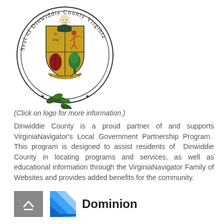[Figure (logo): Seal of Dinwiddie County Virginia — circular seal with a colonial figure, coat of arms showing scales, archer, red leaf, and green tree, with the motto LIBERTAS IBI and year 1752, surrounded by text reading Seal of Dinwiddie County Virginia, with decorative foliage at bottom]
(Click on logo for more information.)
Dinwiddie County is a proud partner of and supports VirginiaNavigator's Local Government Partnership Program. This program is designed to assist residents of Dinwiddie County in locating programs and services, as well as educational information through the VirginiaNavigator Family of Websites and provides added benefits for the community.
[Figure (logo): Scroll-to-top button (grey square with upward chevron) followed by Dominion logo (blue diagonal stripes) and 'Dominion' text in bold black]